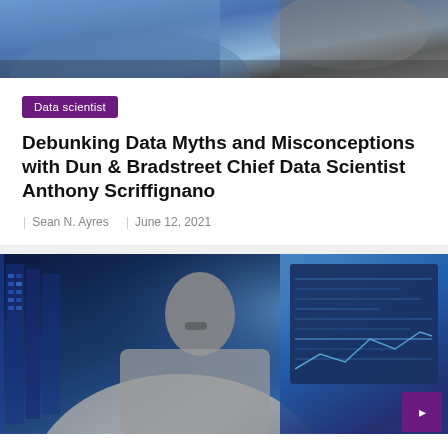[Figure (photo): Top cropped photo showing clothing — blue fabric and grey jacket/suit]
Data scientist
Debunking Data Myths and Misconceptions with Dun & Bradstreet Chief Data Scientist Anthony Scriffignano
Sean N. Ayres   June 12, 2021
[Figure (photo): Woman with glasses and dark hair looking at computer monitors in a data center with blue lighting]